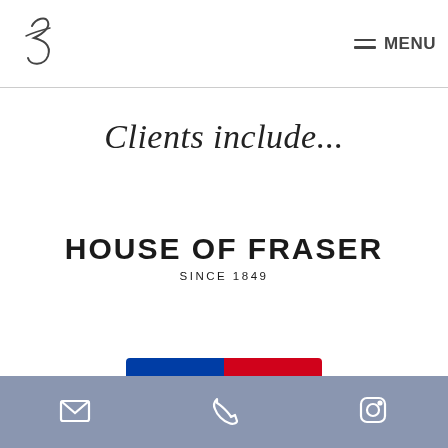EJ logo | MENU
Clients include...
[Figure (logo): House of Fraser Since 1849 logo - black text on white background]
[Figure (logo): Sky Bet logo - blue panel with 'sky' and red panel with 'bet' in white italic bold text]
Email | Phone | Instagram icons